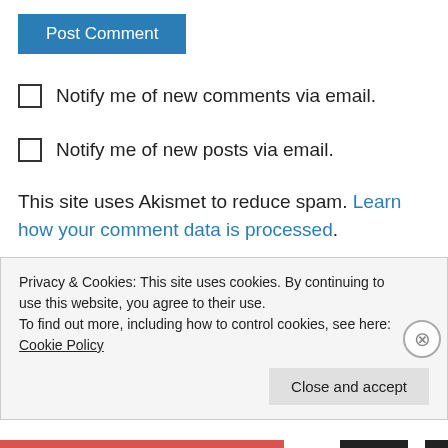Post Comment
Notify me of new comments via email.
Notify me of new posts via email.
This site uses Akismet to reduce spam. Learn how your comment data is processed.
Pingback: 'Music, the language of souls': The Undercover Soundtrack, Roz Morris – and WIN a limited print edition
Privacy & Cookies: This site uses cookies. By continuing to use this website, you agree to their use. To find out more, including how to control cookies, see here: Cookie Policy
Close and accept